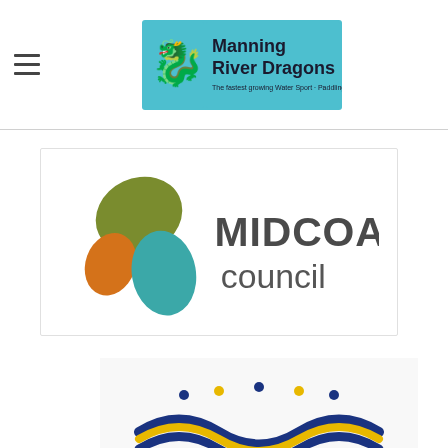[Figure (logo): Manning River Dragons website header logo with teal/cyan background, dragon mascot icon on left, text 'Manning River Dragons' and tagline below]
[Figure (logo): MidCoast Council logo with three leaf/teardrop shapes in olive green, orange, and teal, next to bold dark grey text 'MIDCOAST council']
[Figure (logo): Coastline Credit Union logo with navy and gold wave ribbons, dots above, text 'COASTLINE' in navy and italic tagline 'Where your goals are ours']